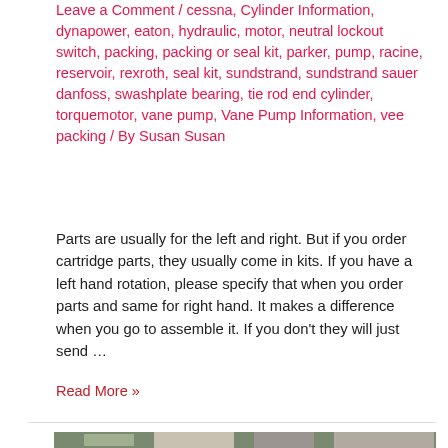Leave a Comment / cessna, Cylinder Information, dynapower, eaton, hydraulic, motor, neutral lockout switch, packing, packing or seal kit, parker, pump, racine, reservoir, rexroth, seal kit, sundstrand, sundstrand sauer danfoss, swashplate bearing, tie rod end cylinder, torquemotor, vane pump, Vane Pump Information, vee packing / By Susan Susan
Parts are usually for the left and right. But if you order cartridge parts, they usually come in kits. If you have a left hand rotation, please specify that when you order parts and same for right hand. It makes a difference when you go to assemble it. If you don't they will just send ...
Read More »
[Figure (photo): Partial view of hydraulic parts/components on a workbench, showing mechanical equipment]